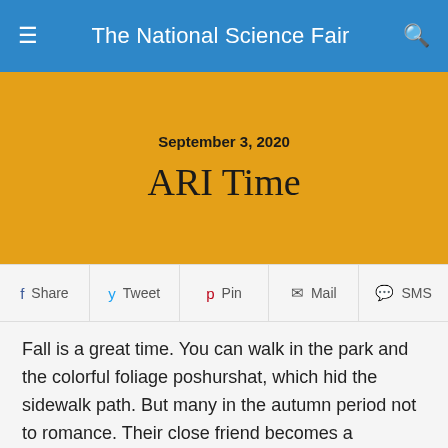The National Science Fair
September 3, 2020
ARI Time
Share  Tweet  Pin  Mail  SMS
Fall is a great time. You can walk in the park and the colorful foliage poshurshat, which hid the sidewalk path. But many in the autumn period not to romance. Their close friend becomes a handkerchief and bed regime, which prescribes a doctor. The reason is banal autumn chill, which gives us much trouble. Do not spare acute respiratory illness, even children